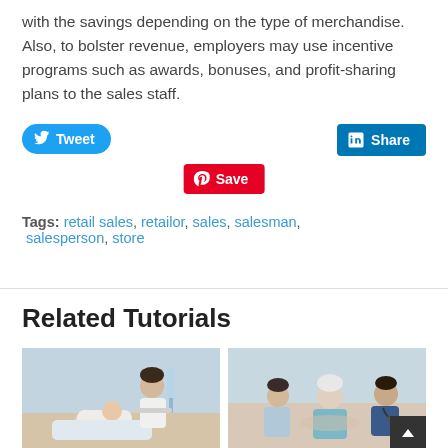with the savings depending on the type of merchandise. Also, to bolster revenue, employers may use incentive programs such as awards, bonuses, and profit-sharing plans to the sales staff.
[Figure (other): Social sharing buttons: Tweet (Twitter, blue rounded), Share (LinkedIn, blue rectangle), Save (Pinterest, red rectangle)]
Tags: retail sales, retailor, sales, salesman, salesperson, store
Related Tutorials
[Figure (photo): Healthcare professional (doctor/nurse in white coat) attending to a patient in a hospital bed]
[Figure (photo): Healthcare professionals with an elderly patient, including a young man and a nurse]